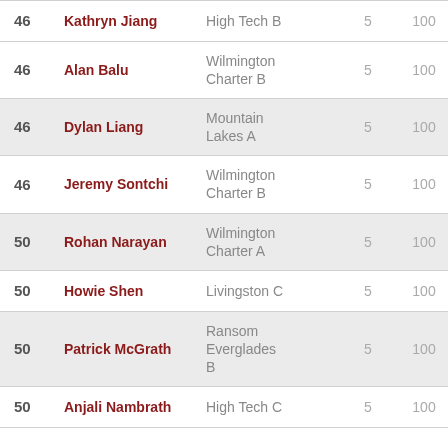| Rank | Name | School | Col4 | Col5 | Col6 |
| --- | --- | --- | --- | --- | --- |
| 46 | Kathryn Jiang | High Tech B | 5 | 100 | 7 |
| 46 | Alan Balu | Wilmington Charter B | 5 | 100 | 6 |
| 46 | Dylan Liang | Mountain Lakes A | 5 | 100 | 5 |
| 46 | Jeremy Sontchi | Wilmington Charter B | 5 | 100 | 5 |
| 50 | Rohan Narayan | Wilmington Charter A | 5 | 100 | 9 |
| 50 | Howie Shen | Livingston C | 5 | 100 | 5 |
| 50 | Patrick McGrath | Ransom Everglades B | 5 | 100 | 3 |
| 50 | Anjali Nambrath | High Tech C | 5 | 100 | 1 |